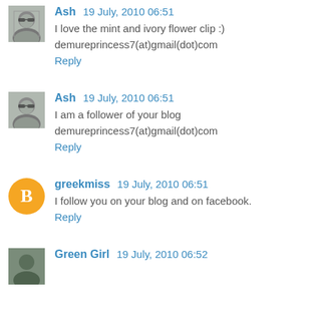Ash 19 July, 2010 06:51 — I love the mint and ivory flower clip :) — demureprincess7(at)gmail(dot)com — Reply
Ash 19 July, 2010 06:51 — I am a follower of your blog — demureprincess7(at)gmail(dot)com — Reply
greekmiss 19 July, 2010 06:51 — I follow you on your blog and on facebook. — Reply
Green Girl 19 July, 2010 06:52